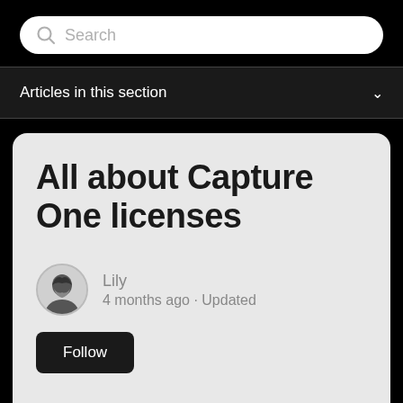[Figure (screenshot): Search bar with magnifying glass icon and placeholder text 'Search' on black background]
Articles in this section
All about Capture One licenses
Lily
4 months ago · Updated
Follow
IMPORTANT: From January 18th, we are no